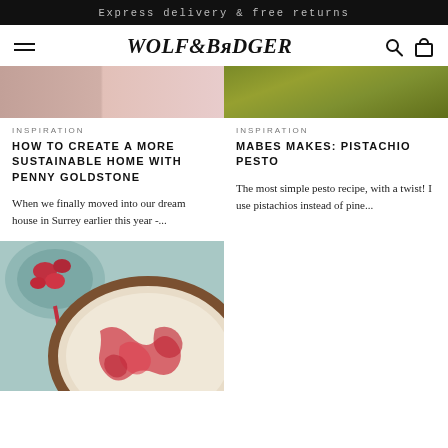Express delivery & free returns
WOLF & BADGER
[Figure (photo): Two-tone pink/rose product image (top of article card, left column)]
INSPIRATION
HOW TO CREATE A MORE SUSTAINABLE HOME WITH PENNY GOLDSTONE
When we finally moved into our dream house in Surrey earlier this year -...
[Figure (photo): Close-up photo of green pistachio pesto (top of article card, right column)]
INSPIRATION
MABES MAKES: PISTACHIO PESTO
The most simple pesto recipe, with a twist! I use pistachios instead of pine...
[Figure (photo): Close-up photo of a raspberry swirl cheesecake tart with granola crust, with a bowl of raspberries]